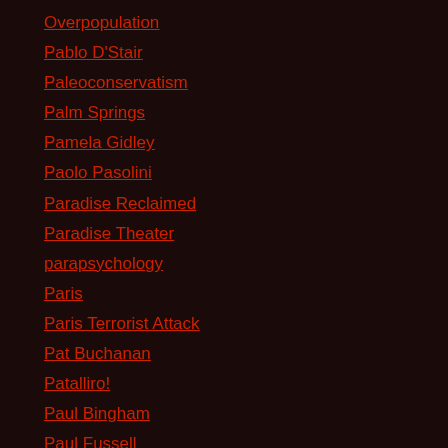Overpopulation
Pablo D'Stair
Paleoconservatism
Palm Springs
Pamela Gidley
Paolo Pasolini
Paradise Reclaimed
Paradise Theater
parapsychology
Paris
Paris Terrorist Attack
Pat Buchanan
Patalliro!
Paul Bingham
Paul Fussell